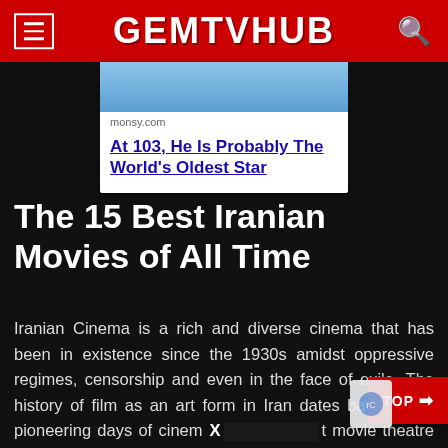GEMTVHUB
[Figure (screenshot): Advertisement card with image, source 'monsy.com' and link text 'At 103, He Is Probably The World's Oldest Star']
The 15 Best Iranian Movies of All Time
Iranian Cinema is a rich and diverse cinema that has been in existence since the 1930s amidst oppressive regimes, censorship and even in the face of exile. The history of film as an art form in Iran dates back to the pioneering days of cinema [redacted] t movie theatre opened in Tehran in 1904. Film was less than ten years old at the time and many Iranians flocked to cinemas to watch the masterpieces. However, it would be another 25 before Iran would develop its own national cinema, a